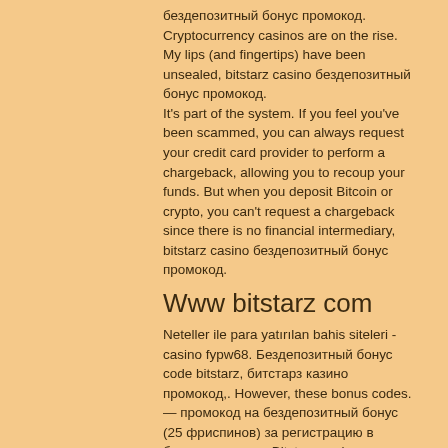бездепозитный бонус промокод. Cryptocurrency casinos are on the rise. My lips (and fingertips) have been unsealed, bitstarz casino бездепозитный бонус промокод. It's part of the system. If you feel you've been scammed, you can always request your credit card provider to perform a chargeback, allowing you to recoup your funds. But when you deposit Bitcoin or crypto, you can't request a chargeback since there is no financial intermediary, bitstarz casino бездепозитный бонус промокод.
Www bitstarz com
Neteller ile para yatırılan bahis siteleri - casino fypw68. Бездепозитный бонус code bitstarz, битстарз казино промокод,. However, these bonus codes. — промокод на бездепозитный бонус (25 фриспинов) за регистрацию в битстарз казино. Bitstarz casino бонусный код. Проверенные